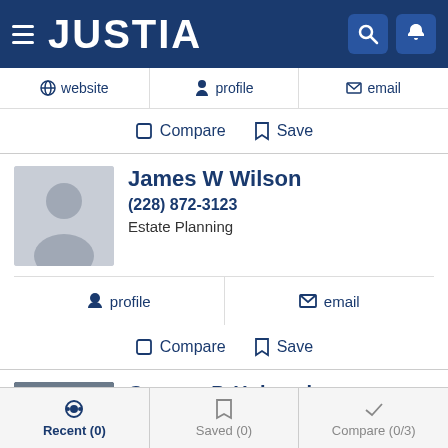JUSTIA
website   profile   email
Compare  Save
James W Wilson
(228) 872-3123
Estate Planning
profile   email
Compare  Save
Gregory P. Holcomb
(601) 795-4572
Estate Planning, Personal Injury, Probate and Workers' Co
Recent (0)   Saved (0)   Compare (0/3)